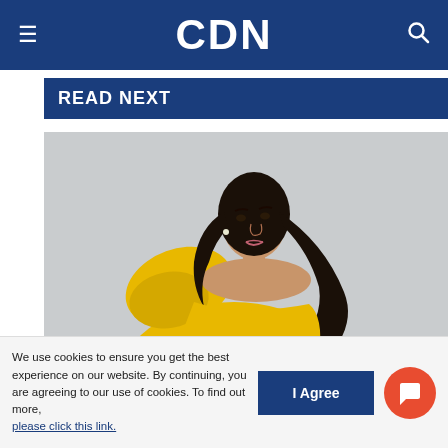CDN
READ NEXT
[Figure (photo): A young woman in a bright yellow ruffled off-shoulder gown with a large bow/ruffle on one shoulder, with long dark wavy hair, posed against a light grey background.]
Beauty queens reflect on lessons learned in 2019, hopeful for 2020
We use cookies to ensure you get the best experience on our website. By continuing, you are agreeing to our use of cookies. To find out more, please click this link.